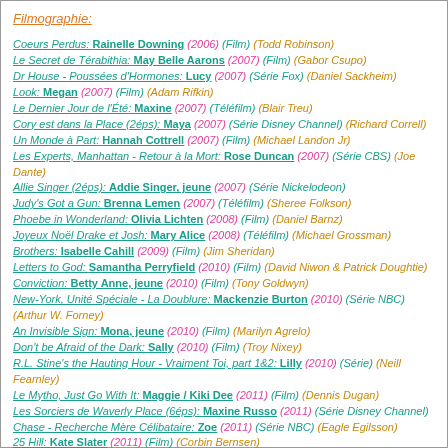Filmographie:
Coeurs Perdus: Rainelle Downing (2006) (Film) (Todd Robinson)
Le Secret de Térabithia: May Belle Aarons (2007) (Film) (Gabor Csupo)
Dr House - Poussées d'Hormones: Lucy (2007) (Série Fox) (Daniel Sackheim)
Look: Megan (2007) (Film) (Adam Rifkin)
Le Dernier Jour de l'Été: Maxine (2007) (Téléfilm) (Blair Treu)
Cory est dans la Place (2éps): Maya (2007) (Série Disney Channel) (Richard Correll)
Un Monde à Part: Hannah Cottrell (2007) (Film) (Michael Landon Jr)
Les Experts, Manhattan - Retour à la Mort: Rose Duncan (2007) (Série CBS) (Joe Dante)
Allie Singer (2éps): Addie Singer, jeune (2007) (Série Nickelodeon)
Judy's Got a Gun: Brenna Lemen (2007) (Téléfilm) (Sheree Folkson)
Phoebe in Wonderland: Olivia Lichten (2008) (Film) (Daniel Barnz)
Joyeux Noël Drake et Josh: Mary Alice (2008) (Téléfilm) (Michael Grossman)
Brothers: Isabelle Cahill (2009) (Film) (Jim Sheridan)
Letters to God: Samantha Perryfield (2010) (Film) (David Niwon & Patrick Doughtie)
Conviction: Betty Anne, jeune (2010) (Film) (Tony Goldwyn)
New-York, Unité Spéciale - La Doublure: Mackenzie Burton (2010) (Série NBC) (Arthur W. Forney)
An Invisible Sign: Mona, jeune (2010) (Film) (Marilyn Agrelo)
Don't be Afraid of the Dark: Sally (2010) (Film) (Troy Nixey)
R.L. Stine's the Hauting Hour - Vraiment Toi, part 1&2: Lilly (2010) (Série) (Neill Fearnley)
Le Mytho, Just Go With It: Maggie / Kiki Dee (2011) (Film) (Dennis Dugan)
Les Sorciers de Waverly Place (6éps): Maxine Russo (2011) (Série Disney Channel)
Chase - Recherche Mère Célibataire: Zoe (2011) (Série NBC) (Eagle Egilsson)
25 Hill: Kate Slater (2011) (Film) (Corbin Bernsen)